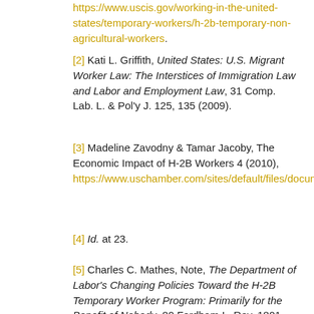https://www.uscis.gov/working-in-the-united-states/temporary-workers/h-2b-temporary-non-agricultural-workers.
[2] Kati L. Griffith, United States: U.S. Migrant Worker Law: The Interstices of Immigration Law and Labor and Employment Law, 31 Comp. Lab. L. & Pol'y J. 125, 135 (2009).
[3] Madeline Zavodny & Tamar Jacoby, The Economic Impact of H-2B Workers 4 (2010), https://www.uschamber.com/sites/default/files/documents/files/16102_LABR%2520H2BReport_LR.pdf.
[4] Id. at 23.
[5] Charles C. Mathes, Note, The Department of Labor's Changing Policies Toward the H-2B Temporary Worker Program: Primarily for the Benefit of Nobody, 80 Fordham L. Rev. 1801,